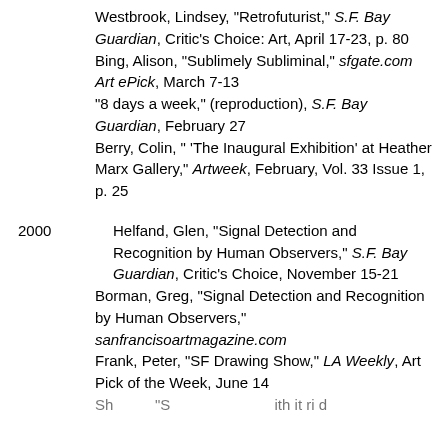Westbrook, Lindsey, "Retrofuturist," S.F. Bay Guardian, Critic's Choice: Art, April 17-23, p. 80
Bing, Alison, "Sublimely Subliminal," sfgate.com Art ePick, March 7-13
"8 days a week," (reproduction), S.F. Bay Guardian, February 27
Berry, Colin, " 'The Inaugural Exhibition' at Heather Marx Gallery," Artweek, February, Vol. 33 Issue 1, p. 25
2000 Helfand, Glen, "Signal Detection and Recognition by Human Observers," S.F. Bay Guardian, Critic's Choice, November 15-21
Borman, Greg, "Signal Detection and Recognition by Human Observers," sanfrancisoartmagazine.com
Frank, Peter, "SF Drawing Show," LA Weekly, Art Pick of the Week, June 14